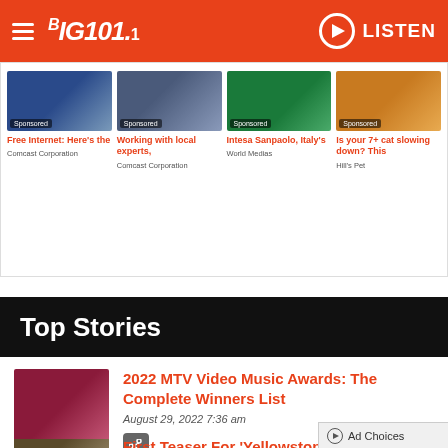BIG 101.1 — LISTEN
[Figure (screenshot): Sponsored ad grid with 4 items: sunset/Comcast, office/Comcast, Intesa Sanpaolo/World Medias, cat/Hill's Pet]
Free Internet: Here's the — Comcast Corporation
Working with local experts, — Comcast Corporation
Intesa Sanpaolo, Italy's — World Medias
Is your 7+ cat slowing down? This — Hill's Pet
Top Stories
[Figure (photo): Woman in red dress holding awards trophy — VMA story thumbnail]
2022 MTV Video Music Awards: The Complete Winners List
August 29, 2022  7:36 am
[Figure (photo): Yellowstone show scene — story thumbnail]
First Teaser For 'Yellowstone' Season 5 Drops During MT